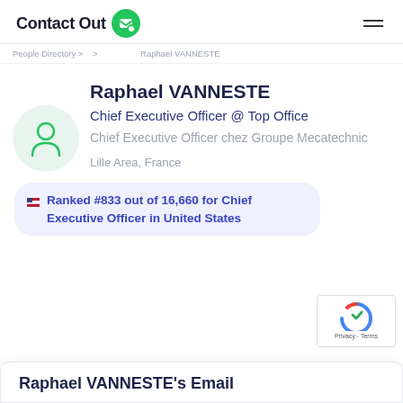ContactOut
People Directory > > > Raphael VANNESTE
Raphael VANNESTE
Chief Executive Officer @ Top Office
Chief Executive Officer chez Groupe Mecatechnic
Lille Area, France
Ranked #833 out of 16,660 for Chief Executive Officer in United States
Raphael VANNESTE's Email